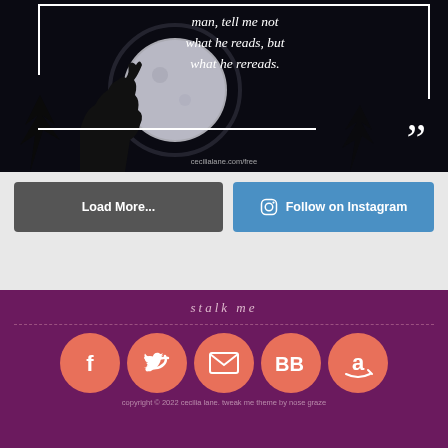[Figure (illustration): Dark quote image with wolf howling at moon background. White text quote: 'man, tell me not what he reads, but what he rereads.' with decorative border and closing quotation marks. Watermark: cecilialane.com/free]
Load More...
Follow on Instagram
stalk me
[Figure (illustration): Row of 5 salmon/coral colored circular social media icons: Facebook (f), Twitter (bird), Email (envelope), BookBub (BB), Amazon (a)]
copyright © 2022 cecilia lane. tweak me theme by nose graze